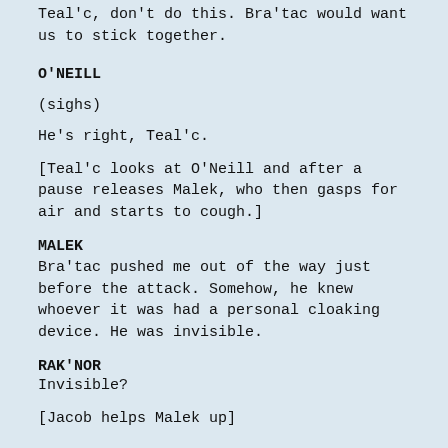Teal'c, don't do this. Bra'tac would want us to stick together.
O'NEILL
(sighs)
He's right, Teal'c.
[Teal'c looks at O'Neill and after a pause releases Malek, who then gasps for air and starts to cough.]
MALEK
Bra'tac pushed me out of the way just before the attack. Somehow, he knew whoever it was had a personal cloaking device. He was invisible.
RAK'NOR
Invisible?
[Jacob helps Malek up]